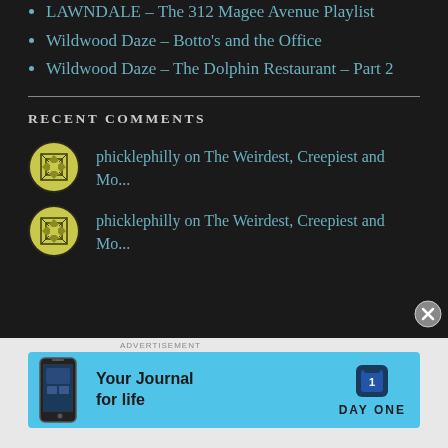LAWNDALE – The 312 Magee Avenue Playlist
Wildwood Daze – Botto's and the Office
Wildwood Daze – The Dolphin Restaurant – Part 2
RECENT COMMENTS
phicklephilly on The Weirdest, Creepiest and Mo...
phicklephilly on The Weirdest, Creepiest and Mo...
[Figure (other): Day One app advertisement banner with phone graphic, text 'Your Journal for life', and Day One logo on cyan background]